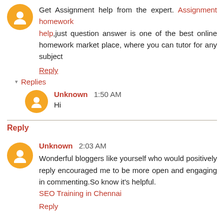Get Assignment help from the expert. Assignment homework help,just question answer is one of the best online homework market place, where you can tutor for any subject
Reply
▾ Replies
Unknown  1:50 AM
Hi
Reply
Unknown  2:03 AM
Wonderful bloggers like yourself who would positively reply encouraged me to be more open and engaging in commenting.So know it's helpful.
SEO Training in Chennai
Reply